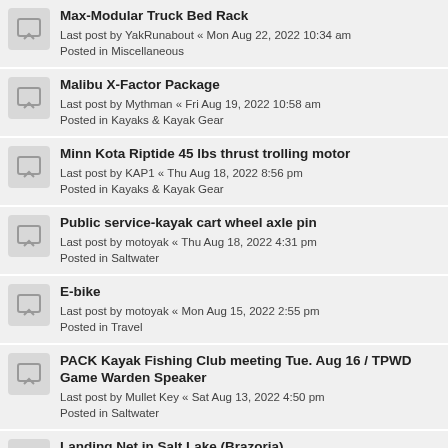Max-Modular Truck Bed Rack
Last post by YakRunabout « Mon Aug 22, 2022 10:34 am
Posted in Miscellaneous
Malibu X-Factor Package
Last post by Mythman « Fri Aug 19, 2022 10:58 am
Posted in Kayaks & Kayak Gear
Minn Kota Riptide 45 lbs thrust trolling motor
Last post by KAP1 « Thu Aug 18, 2022 8:56 pm
Posted in Kayaks & Kayak Gear
Public service-kayak cart wheel axle pin
Last post by motoyak « Thu Aug 18, 2022 4:31 pm
Posted in Saltwater
E-bike
Last post by motoyak « Mon Aug 15, 2022 2:55 pm
Posted in Travel
PACK Kayak Fishing Club meeting Tue. Aug 16 / TPWD Game Warden Speaker
Last post by Mullet Key « Sat Aug 13, 2022 4:50 pm
Posted in Saltwater
Landing Net in Salt Lake (Brazoria)
Last post by Mullet Key « Tue Aug 09, 2022 8:28 am
Posted in Saltwater
Lifejacket PFD - Kokatat Tour PFD
Last post by Endo « Sun Aug 07, 2022 3:40 pm
Posted in Kayaks & Kayak Gear
4 Penn Conventional Reels 150 obo
Last post by NYFish « Sun Aug 07, 2022 8:…